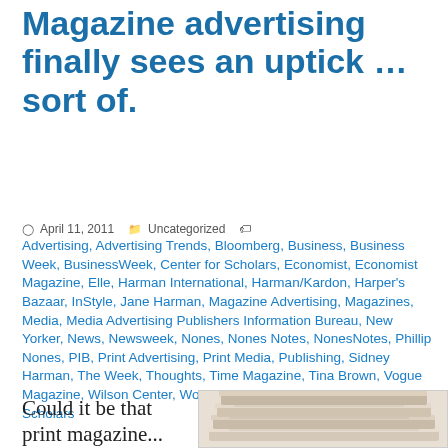Magazine advertising finally sees an uptick ... sort of.
April 11, 2011  Uncategorized  Advertising, Advertising Trends, Bloomberg, Business, Business Week, BusinessWeek, Center for Scholars, Economist, Economist Magazine, Elle, Harman International, Harman/Kardon, Harper's Bazaar, InStyle, Jane Harman, Magazine Advertising, Magazines, Media, Media Advertising Publishers Information Bureau, New Yorker, News, Newsweek, Nones, Nones Notes, NonesNotes, Phillip Nones, PIB, Print Advertising, Print Media, Publishing, Sidney Harman, The Week, Thoughts, Time Magazine, Tina Brown, Vogue Magazine, Wilson Center, Woodrow Wilson International Center for Scholars
Could it be that print magazine...
[Figure (photo): Stack of print magazines/newspapers photographed from the side]